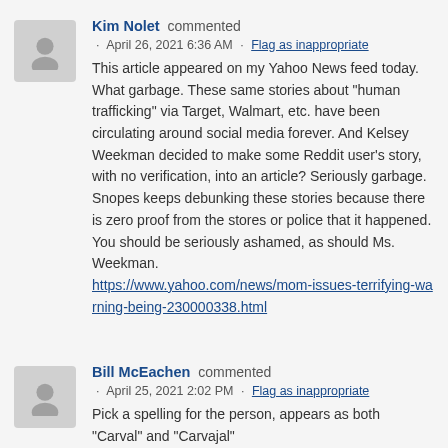Kim Nolet commented · April 26, 2021 6:36 AM · Flag as inappropriate
This article appeared on my Yahoo News feed today. What garbage. These same stories about "human trafficking" via Target, Walmart, etc. have been circulating around social media forever. And Kelsey Weekman decided to make some Reddit user's story, with no verification, into an article? Seriously garbage. Snopes keeps debunking these stories because there is zero proof from the stores or police that it happened. You should be seriously ashamed, as should Ms. Weekman. https://www.yahoo.com/news/mom-issues-terrifying-warning-being-230000338.html
Bill McEachen commented · April 25, 2021 2:02 PM · Flag as inappropriate
Pick a spelling for the person, appears as both "Carval" and "Carvajal"